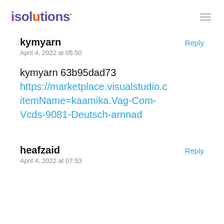isolutions
kymyarn
April 4, 2022 at 05:50
kymyarn 63b95dad73
https://marketplace.visualstudio.c itemName=kaamika.Vag-Com-Vcds-9081-Deutsch-arnnad
heafzaid
April 4, 2022 at 07:53